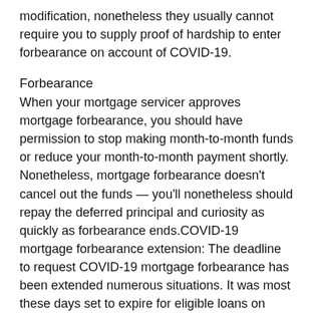modification, nonetheless they usually cannot require you to supply proof of hardship to enter forbearance on account of COVID-19.
Forbearance
When your mortgage servicer approves mortgage forbearance, you should have permission to stop making month-to-month funds or reduce your month-to-month payment shortly. Nonetheless, mortgage forbearance doesn't cancel out the funds — you'll nonetheless should repay the deferred principal and curiosity as quickly as forbearance ends.COVID-19 mortgage forbearance extension: The deadline to request COVID-19 mortgage forbearance has been extended numerous situations. It was most these days set to expire for eligible loans on Sept. 30, 2021.
Nonetheless, now you'll be able to request as a lot as six months of preliminary forbearance until the highest of the nationally declared emergency for FHA, USDA, and VA loans. You might also request additional six months from...